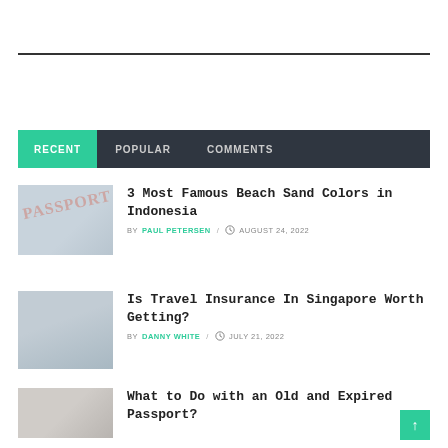RECENT | POPULAR | COMMENTS
3 Most Famous Beach Sand Colors in Indonesia BY PAUL PETERSEN / AUGUST 24, 2022
Is Travel Insurance In Singapore Worth Getting? BY DANNY WHITE / JULY 21, 2022
What to Do with an Old and Expired Passport?